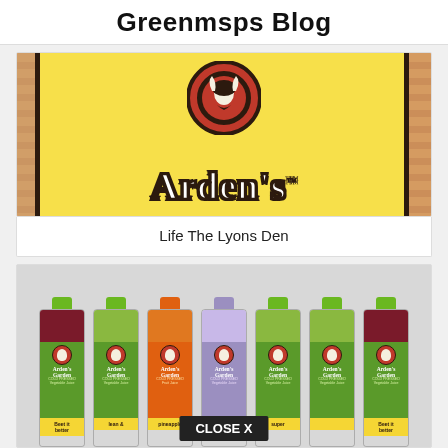Greenmsps Blog
[Figure (photo): Close-up photo of Arden's Garden brand logo on orange striped packaging, showing the circular emblem and yellow label with brand name in white/black lettering]
Life The Lyons Den
[Figure (photo): Row of seven Arden's Garden Cold Pressed juice bottles with various colored caps (green, orange, purple) and label colors, showing Vegetable Juice and Fruit Juice varieties including 'Beet it better', 'lean &', 'pineapple', and 'super' flavors. A 'CLOSE X' button overlay appears at the bottom center.]